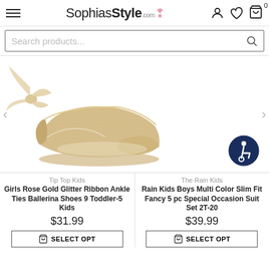SophiasStyle.com
Search products...
[Figure (photo): A gold glitter ballerina flat shoe with a cream/champagne satin ribbon ankle tie, photographed on a white background.]
Tip Top Kids
Girls Rose Gold Glitter Ribbon Ankle Ties Ballerina Shoes 9 Toddler-5 Kids
$31.99
SELECT OPT
The Rain Kids
Rain Kids Boys Multi Color Slim Fit Fancy 5 pc Special Occasion Suit Set 2T-20
$39.99
SELECT OPT